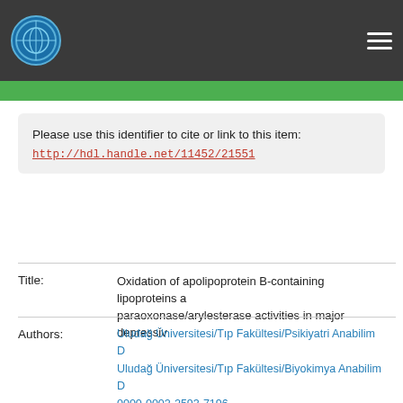Uludağ Üniversitesi repository header with logo and hamburger menu
Please use this identifier to cite or link to this item:
http://hdl.handle.net/11452/21551
Title: Oxidation of apolipoprotein B-containing lipoproteins and paraoxonase/arylesterase activities in major depressiv
Authors: Uludağ Üniversitesi/Tıp Fakültesi/Psikiyatri Anabilim D
Uludağ Üniversitesi/Tıp Fakültesi/Biyokimya Anabilim D
0000-0002-2593-7196
Sarandol, Aslı
Sarandol, Emre
Eker, Salih Saygın
Karaağaç, Esra Uğurlu
Hızlı, Banu Zafer
Dirican, Melahat
Kirli, Selcuk